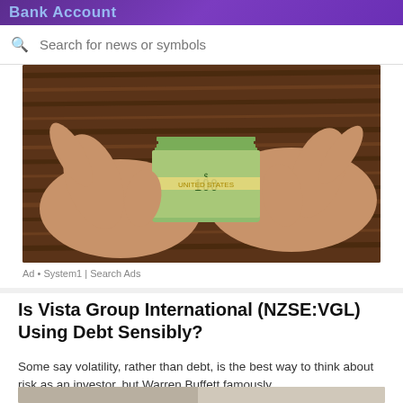Bank Account
Search for news or symbols
[Figure (photo): Hands holding a thick bundle of US $100 bills against a wooden surface background]
Ad • System1 | Search Ads
Is Vista Group International (NZSE:VGL) Using Debt Sensibly?
Some say volatility, rather than debt, is the best way to think about risk as an investor, but Warren Buffett famously...
[Figure (photo): Partial view of article thumbnail showing people at a desk with financial charts]